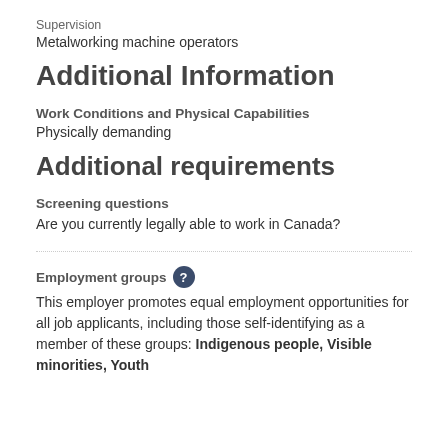Supervision
Metalworking machine operators
Additional Information
Work Conditions and Physical Capabilities
Physically demanding
Additional requirements
Screening questions
Are you currently legally able to work in Canada?
Employment groups
This employer promotes equal employment opportunities for all job applicants, including those self-identifying as a member of these groups: Indigenous people, Visible minorities, Youth